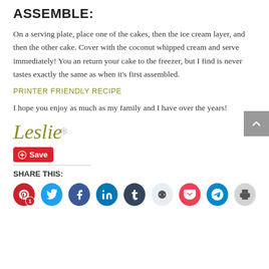ASSEMBLE:
On a serving plate, place one of the cakes, then the ice cream layer, and then the other cake. Cover with the coconut whipped cream and serve immediately! You an return your cake to the freezer, but I find is never tastes exactly the same as when it’s first assembled.
PRINTER FRIENDLY RECIPE
I hope you enjoy as much as my family and I have over the years!
[Figure (illustration): Handwritten-style signature reading 'Leslie' with a decorative snowflake symbol]
[Figure (other): Pinterest Save button (red) and social sharing icons row: Pinterest, Twitter, Facebook, LinkedIn, Tumblr, Reddit, Pocket, Telegram, Print]
SHARE THIS: